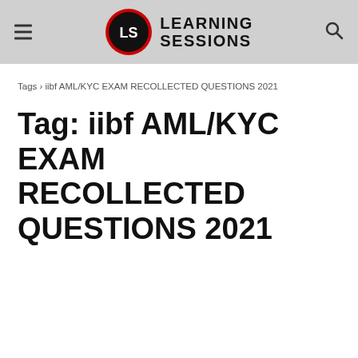[Figure (logo): Learning Sessions logo with LS in a red-bordered black circle and bold text LEARNING SESSIONS to the right]
Tags › iibf AML/KYC EXAM RECOLLECTED QUESTIONS 2021
Tag: iibf AML/KYC EXAM RECOLLECTED QUESTIONS 2021